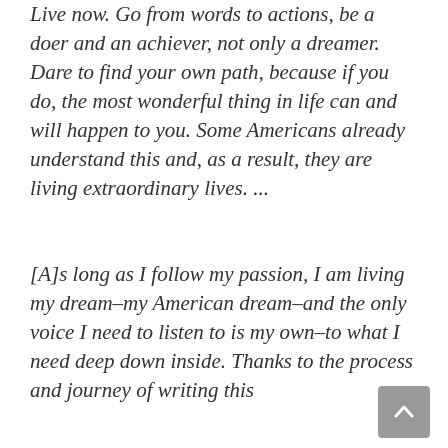Live now. Go from words to actions, be a doer and an achiever, not only a dreamer. Dare to find your own path, because if you do, the most wonderful thing in life can and will happen to you. Some Americans already understand this and, as a result, they are living extraordinary lives. ...
[A]s long as I follow my passion, I am living my dream–my American dream–and the only voice I need to listen to is my own–to what I need deep down inside. Thanks to the process and journey of writing this